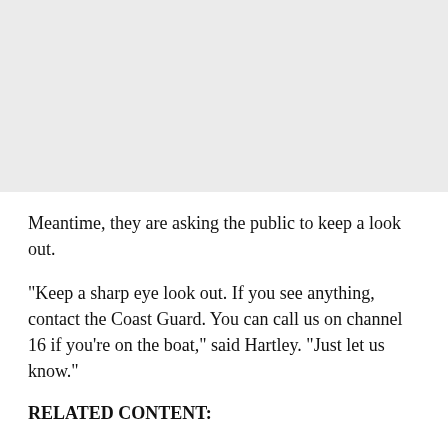[Figure (other): Gray placeholder image area at top of page]
Meantime, they are asking the public to keep a look out.
"Keep a sharp eye look out. If you see anything, contact the Coast Guard. You can call us on channel 16 if you're on the boat," said Hartley. "Just let us know."
RELATED CONTENT: